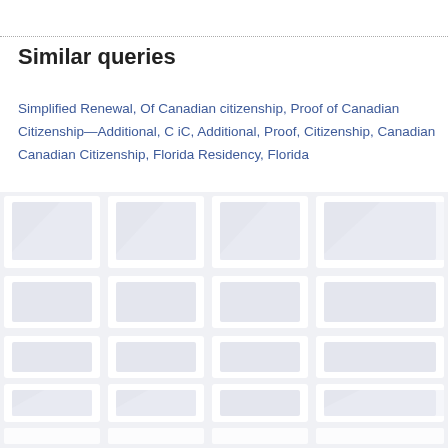Similar queries
Simplified Renewal, Of Canadian citizenship, Proof of Canadian Citizenship—Additional, C iC, Additional, Proof, Citizenship, Canadian Canadian Citizenship, Florida Residency, Florida
[Figure (other): Grid of placeholder document thumbnail cards in a light grey background, arranged in multiple rows]